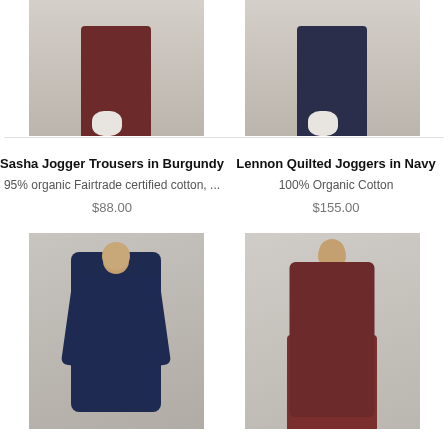[Figure (photo): Cropped photo showing legs/feet of model wearing Sasha Jogger Trousers in Burgundy with white sneakers on wooden floor]
[Figure (photo): Cropped photo showing legs/feet of model wearing Lennon Quilted Joggers in Navy with white sneakers on wooden floor]
Sasha Jogger Trousers in Burgundy
95% organic Fairtrade certified cotton, ...
$88.00
Lennon Quilted Joggers in Navy
100% Organic Cotton
$155.00
[Figure (photo): Full-length photo of woman wearing navy blue turtleneck sweater and navy trousers against light grey background]
[Figure (photo): Full-length photo of woman wearing burgundy turtleneck top and floral burgundy midi skirt with black boots against light grey background]